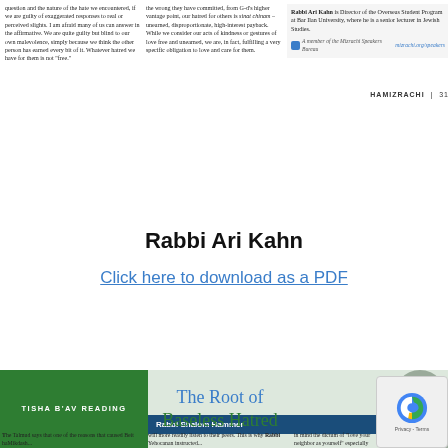question and the nature of the hate we encountered, if we are guilty of exaggerated responses to real or perceived slights. I am afraid many of us can answer in the affirmative. We are quite guilty but blind to our own malevolence, simply because we think the other person has earned every bit of it. Whatever hatred we have for them is not "free."
the wrong they have committed, from G-d's higher vantage point, our hatred for others is sinat chinam - unearned, disproportionate, high-interest payback. While we consider our acts of kindness or gestures of love free and unearned, we are, in fact, fulfilling a very specific obligation to love and care for them.
Rabbi Ari Kahn is Director of the Overseas Student Program at Bar Ilan University, where he is a senior lecturer in Jewish Studies.
A member of the Mizrachi Speakers Bureau mizrachi.org/speakers
HAMIZRACHI | 31
Rabbi Ari Kahn
Click here to download as a PDF
TISHA B'AV READING
Rabbi Shalom Hammer
The Root of Baseless Hatred
The Talmud says that one of the reasons that caused Beit haMikdash...
will more readily listen to their peers. This is why Rabbi Yehocanan instructed...
in mind the dictum of "love your neighbor as yourself" especially with regards...